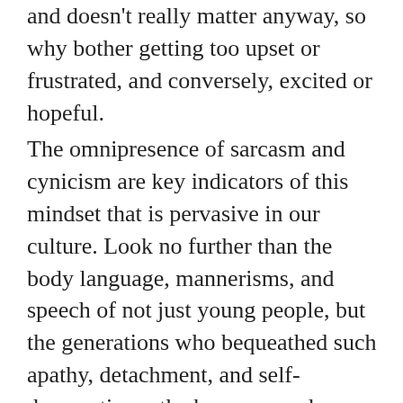and doesn't really matter anyway, so why bother getting too upset or frustrated, and conversely, excited or hopeful.
The omnipresence of sarcasm and cynicism are key indicators of this mindset that is pervasive in our culture. Look no further than the body language, mannerisms, and speech of not just young people, but the generations who bequeathed such apathy, detachment, and self-deprecation – the boomers and every generation after them. The paradigmatic exemplar is late night talk shows. In no